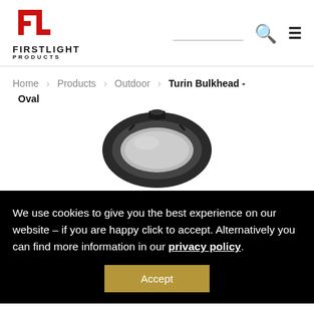[Figure (logo): Firstlight Products logo with red FL monogram and bold text FIRSTLIGHT PRODUCTS]
Home > Products > Outdoor > Turin Bulkhead - Oval
[Figure (photo): Turin Bulkhead Oval light fixture, dark oval metallic fixture with glass lens, top-down partial view]
We use cookies to give you the best experience on our website – if you are happy click to accept. Alternatively you can find more information in our privacy policy.
Accept